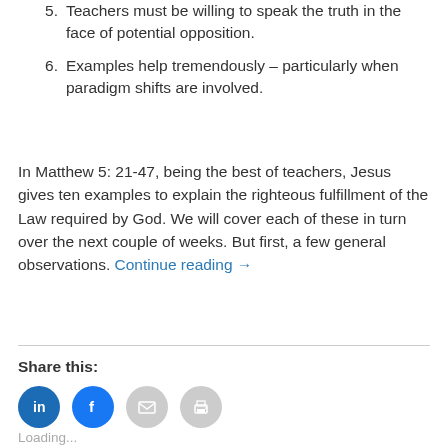5. Teachers must be willing to speak the truth in the face of potential opposition.
6. Examples help tremendously – particularly when paradigm shifts are involved.
In Matthew 5: 21-47, being the best of teachers, Jesus gives ten examples to explain the righteous fulfillment of the Law required by God. We will cover each of these in turn over the next couple of weeks. But first, a few general observations. Continue reading →
Share this:
[Figure (other): Social sharing icons: LinkedIn (blue circle with 'in'), Facebook (blue circle with 'f'), Email (grey circle with envelope), Print (grey circle with printer)]
Loading...